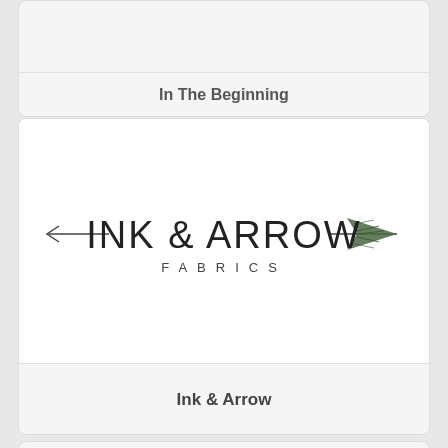In The Beginning
[Figure (logo): Ink & Arrow Fabrics logo with arrow graphic pointing left on the left side and arrow with feathers pointing right on the right side, with 'INK & ARROW' in large text and 'FABRICS' in spaced small caps below]
Ink & Arrow